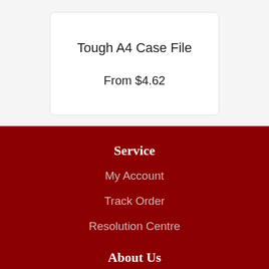Tough A4 Case File
From $4.62
Service
My Account
Track Order
Resolution Centre
About Us
About Us